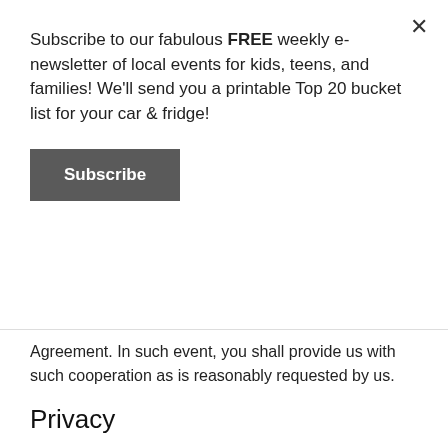Subscribe to our fabulous FREE weekly e-newsletter of local events for kids, teens, and families! We'll send you a printable Top 20 bucket list for your car & fridge!
Subscribe
Agreement. In such event, you shall provide us with such cooperation as is reasonably requested by us.
Privacy
Your privacy is very important to us, which is why we've created a separate Privacy Policy in order to explain in detail how we collect, manage, process, secure, and store your private information. Our privacy policy is included under the scope of this User Agreement. To read our privacy policy in its entirety, click here.
Limitation of Warranties
By using our website, you understand and agree that all Resources provided on this website will be available. This